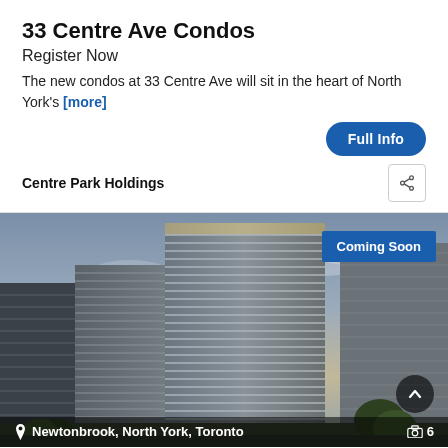33 Centre Ave Condos
Register Now
The new condos at 33 Centre Ave will sit in the heart of North York's [more]
Full Info
Centre Park Holdings
[Figure (photo): Architectural rendering of 33 Centre Ave Condos showing modern high-rise towers in Newtonbrook, North York, Toronto]
Newtonbrook, North York, Toronto